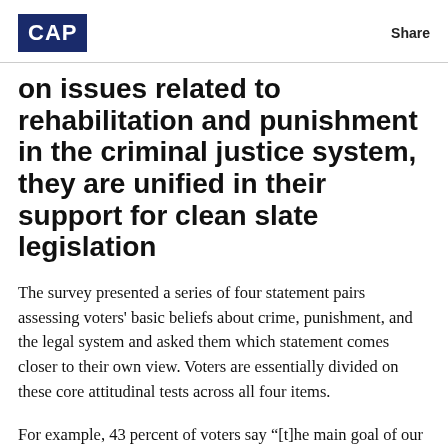CAP | Share
on issues related to rehabilitation and punishment in the criminal justice system, they are unified in their support for clean slate legislation
The survey presented a series of four statement pairs assessing voters' basic beliefs about crime, punishment, and the legal system and asked them which statement comes closer to their own view. Voters are essentially divided on these core attitudinal tests across all four items.
For example, 43 percent of voters say “[t]he main goal of our criminal justice system should be rehabilitating